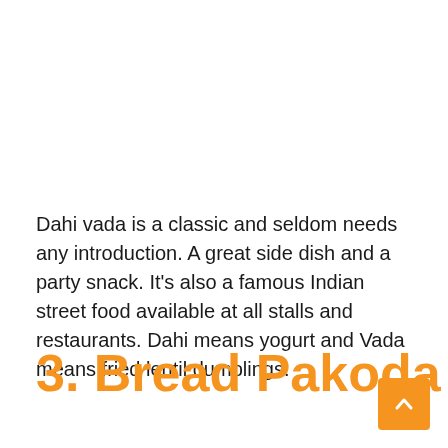Dahi vada is a classic and seldom needs any introduction. A great side dish and a party snack. It's also a famous Indian street food available at all stalls and restaurants. Dahi means yogurt and Vada means fried lentil dumplings.
3. Bread Pakoda